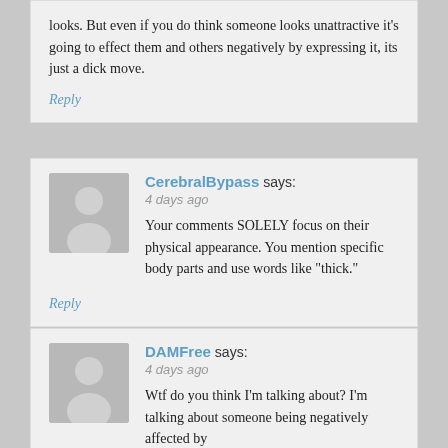looks. But even if you do think someone looks unattractive it's going to effect them and others negatively by expressing it, its just a dick move.
Reply
CerebralBypass says:
4 days ago
Your comments SOLELY focus on their physical appearance. You mention specific body parts and use words like "thick."
Reply
DAMFree says:
4 days ago
Wtf do you think I'm talking about? I'm talking about someone being negatively affected by...